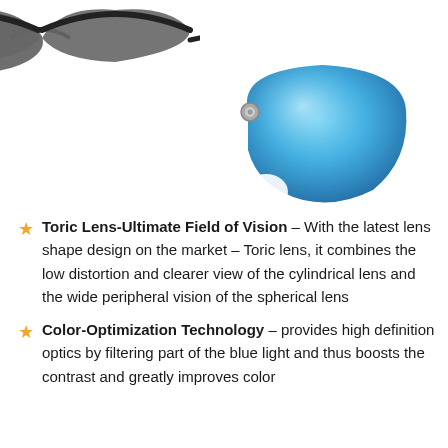[Figure (photo): Partial view of dark/black ski goggles at top of page]
[Figure (photo): Blue toric goggle replacement lens with a small round button/clip, shown on the right side of the page]
Toric Lens-Ultimate Field of Vision – With the latest lens shape design on the market – Toric lens, it combines the low distortion and clearer view of the cylindrical lens and the wide peripheral vision of the spherical lens
Color-Optimization Technology – provides high definition optics by filtering part of the blue light and thus boosts the contrast and greatly improves color